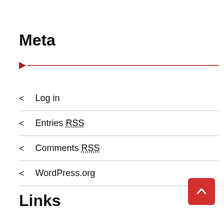Meta
Log in
Entries RSS
Comments RSS
WordPress.org
Links